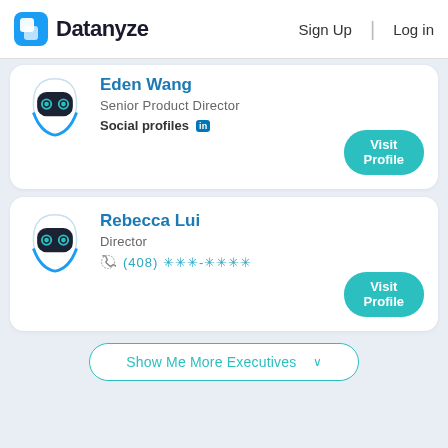Datanyze | Sign Up | Log in
Eden Wang
Senior Product Director
Social profiles [in]
Visit Profile
Rebecca Lui
Director
(408) ✳✳✳-✳✳✳✳
Visit Profile
Show Me More Executives ∨